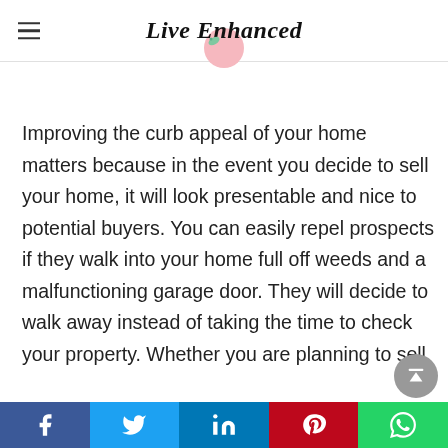Live Enhanced
Improving the curb appeal of your home matters because in the event you decide to sell your home, it will look presentable and nice to potential buyers. You can easily repel prospects if they walk into your home full off weeds and a malfunctioning garage door. They will decide to walk away instead of taking the time to check your property. Whether you are planning to sell
Facebook | Twitter | LinkedIn | Pinterest | WhatsApp